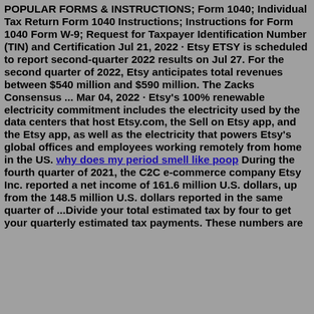POPULAR FORMS & INSTRUCTIONS; Form 1040; Individual Tax Return Form 1040 Instructions; Instructions for Form 1040 Form W-9; Request for Taxpayer Identification Number (TIN) and Certification Jul 21, 2022 · Etsy ETSY is scheduled to report second-quarter 2022 results on Jul 27. For the second quarter of 2022, Etsy anticipates total revenues between $540 million and $590 million. The Zacks Consensus ... Mar 04, 2022 · Etsy's 100% renewable electricity commitment includes the electricity used by the data centers that host Etsy.com, the Sell on Etsy app, and the Etsy app, as well as the electricity that powers Etsy's global offices and employees working remotely from home in the US. why does my period smell like poop During the fourth quarter of 2021, the C2C e-commerce company Etsy Inc. reported a net income of 161.6 million U.S. dollars, up from the 148.5 million U.S. dollars reported in the same quarter of ...Divide your total estimated tax by four to get your quarterly estimated tax payments. These numbers are